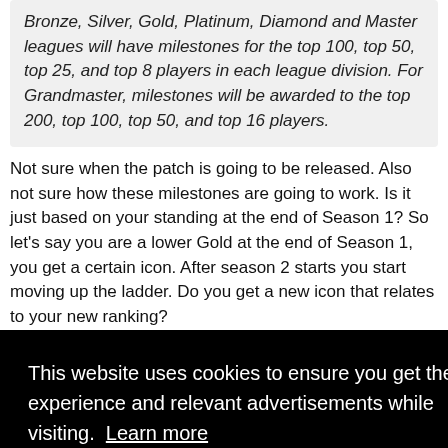Bronze, Silver, Gold, Platinum, Diamond and Master leagues will have milestones for the top 100, top 50, top 25, and top 8 players in each league division. For Grandmaster, milestones will be awarded to the top 200, top 100, top 50, and top 16 players.
Not sure when the patch is going to be released. Also not sure how these milestones are going to work. Is it just based on your standing at the end of Season 1? So let's say you are a lower Gold at the end of Season 1, you get a certain icon. After season 2 starts you start moving up the ladder. Do you get a new icon that relates to your new ranking?
This website uses cookies to ensure you get the best experience and relevant advertisements while visiting. Learn more
Got it!
#1095
old hand